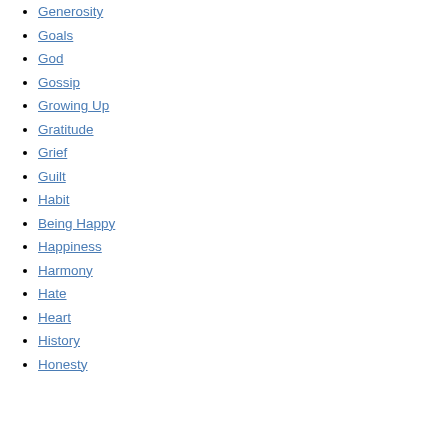Generosity
Goals
God
Gossip
Growing Up
Gratitude
Grief
Guilt
Habit
Being Happy
Happiness
Harmony
Hate
Heart
History
Honesty